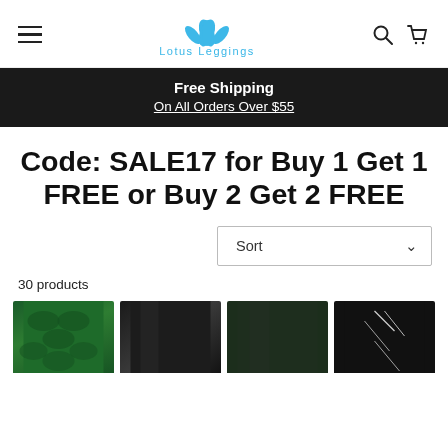Lotus Leggings – navigation header with hamburger menu, logo, search and cart icons
Free Shipping
On All Orders Over $55
Code: SALE17 for Buy 1 Get 1 FREE or Buy 2 Get 2 FREE
Sort
30 products
[Figure (photo): Four product thumbnail images of leggings: green scale-patterned, black glossy, dark green solid, and black with white graphic print]